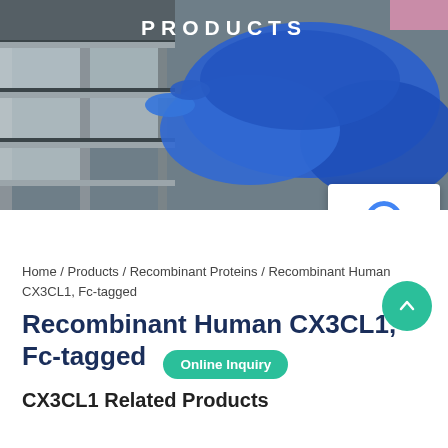[Figure (photo): Hero banner photo of a person wearing blue gloves reaching into a freezer storage rack, with 'PRODUCTS' text overlaid in white uppercase letters]
Home / Products / Recombinant Proteins / Recombinant Human CX3CL1, Fc-tagged
Recombinant Human CX3CL1, Fc-tagged
Online Inquiry
CX3CL1 Related Products